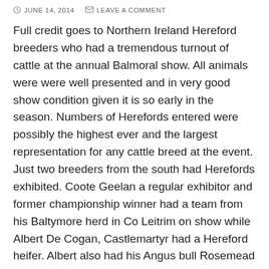JUNE 14, 2014   LEAVE A COMMENT
Full credit goes to Northern Ireland Hereford breeders who had a tremendous turnout of cattle at the annual Balmoral show. All animals were were well presented and in very good show condition given it is so early in the season. Numbers of Herefords entered were possibly the highest ever and the largest representation for any cattle breed at the event. Just two breeders from the south had Herefords exhibited. Coote Geelan a regular exhibitor and former championship winner had a team from his Baltymore herd in Co Leitrim on show while Albert De Cogan, Castlemartyr had a Hereford heifer. Albert also had his Angus bull Rosemead Karona J957 on display initially winning his class and later going all the way to take the Angus Championship.
The Reserve Grand Female Hereford Champion came from the first class of the day, and was exhibited by John